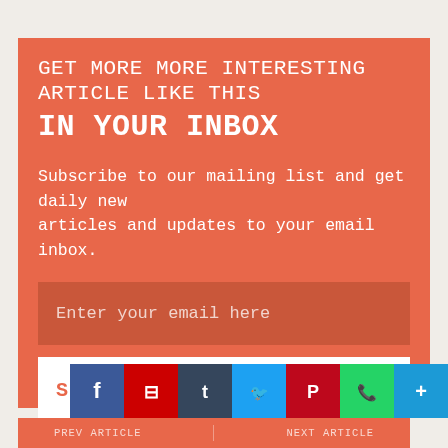GET MORE MORE INTERESTING ARTICLE LIKE THIS IN YOUR INBOX
Subscribe to our mailing list and get daily new articles and updates to your email inbox.
Enter your email here
SIGN UP NOW
100 % privacy. I will never spam you!
[Figure (infographic): Social sharing icons: Facebook (blue), Flipboard (red), Tumblr (dark), Twitter (light blue), Pinterest (dark red), WhatsApp (green), More (blue)]
PREV ARTICLE   NEXT ARTICLE